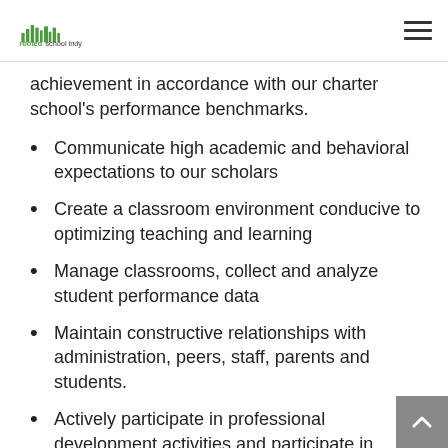rooted school indy
achievement in accordance with our charter school's performance benchmarks.
Communicate high academic and behavioral expectations to our scholars
Create a classroom environment conducive to optimizing teaching and learning
Manage classrooms, collect and analyze student performance data
Maintain constructive relationships with administration, peers, staff, parents and students.
Actively participate in professional development activities and participate in reflective practice and implement strategies to improve teaching and